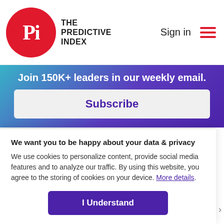THE PREDICTIVE INDEX — Sign in
Join 150K+ leaders in our weekly email.
Subscribe
differentiates you from competitors–you need to peel away the eye-stinging layers of the onion to get at the core. Simon Sinek gave a brilliant TED talk on this issue, and
We want you to be happy about your data & privacy
We use cookies to personalize content, provide social media features and to analyze our traffic. By using this website, you agree to the storing of cookies on your device. More details.
I Understand